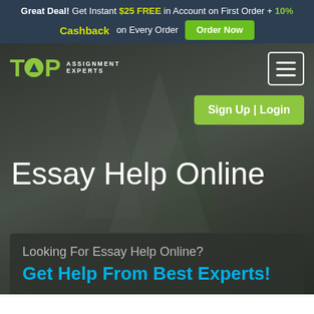Great Deal! Get Instant $25 FREE in Account on First Order + 10% Cashback on Every Order
[Figure (screenshot): Top Assignment Experts website hero section with logo, navigation hamburger menu, Sign Up | Login button, and headline 'Essay Help Online' over a blurred architectural background]
Essay Help Online
Looking For Essay Help Online?
Get Help From Best Experts!